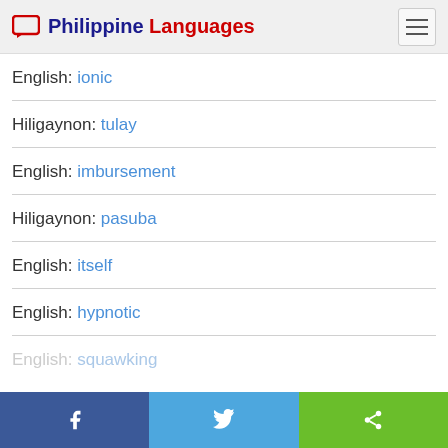Philippine Languages
English: ionic
Hiligaynon: tulay
English: imbursement
Hiligaynon: pasuba
English: itself
English: hypnotic
English: squawking